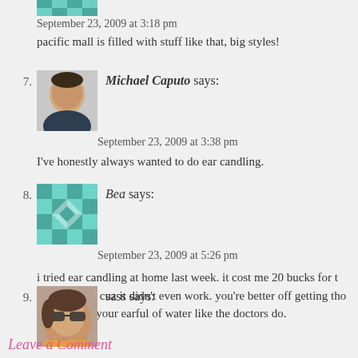[Figure (photo): Teal geometric avatar for anonymous commenter]
September 23, 2009 at 3:18 pm
pacific mall is filled with stuff like that, big styles!
7. Michael Caputo says:
[Figure (photo): Photo of Michael Caputo, a man in a suit]
September 23, 2009 at 3:38 pm
I've honestly always wanted to do ear candling.
8. Bea says:
[Figure (photo): Teal geometric/quilt pattern avatar for Bea]
September 23, 2009 at 5:26 pm
i tried ear candling at home last week. it cost me 20 bucks for t was a rip off cuz it didn't even work. you're better off getting the and swoosh your earful of water like the doctors do.
9. sass says:
[Figure (photo): Photo of sass, a woman with sunglasses]
September 24, 2009 at 2:09 am
but box haffe to be purrrfec.
Leave a Comment